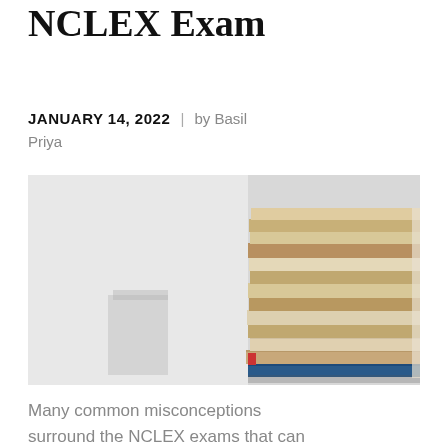Myths About the NCLEX Exam
JANUARY 14, 2022  |  by Basil Priya
[Figure (photo): A stack of books photographed against a light grey background, books visible on the right side of the frame with spines facing right]
Many common misconceptions surround the NCLEX exams that can